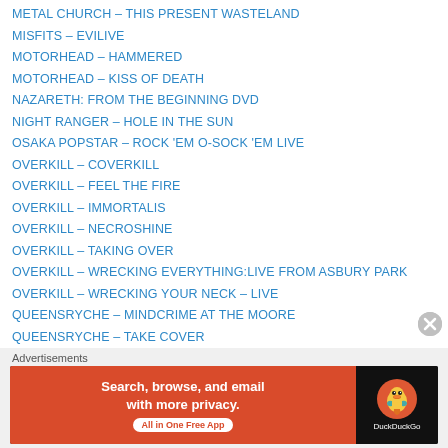METAL CHURCH – THIS PRESENT WASTELAND
MISFITS – EVILIVE
MOTORHEAD – HAMMERED
MOTORHEAD – KISS OF DEATH
NAZARETH: FROM THE BEGINNING DVD
NIGHT RANGER – HOLE IN THE SUN
OSAKA POPSTAR – ROCK 'EM O-SOCK 'EM LIVE
OVERKILL – COVERKILL
OVERKILL – FEEL THE FIRE
OVERKILL – IMMORTALIS
OVERKILL – NECROSHINE
OVERKILL – TAKING OVER
OVERKILL – WRECKING EVERYTHING:LIVE FROM ASBURY PARK
OVERKILL – WRECKING YOUR NECK – LIVE
QUEENSRYCHE – MINDCRIME AT THE MOORE
QUEENSRYCHE – TAKE COVER
RAINBOW – STRAIGHT BETWEEN THE EYES
[Figure (screenshot): DuckDuckGo advertisement banner: 'Search, browse, and email with more privacy. All in One Free App' with DuckDuckGo logo on dark background]